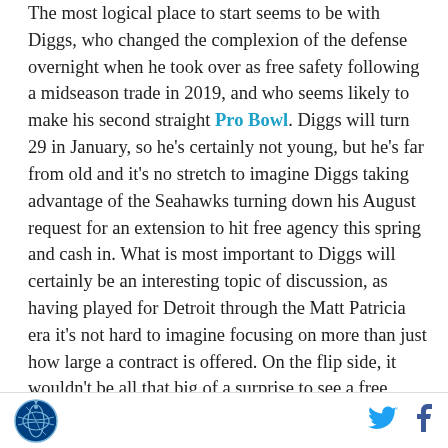The most logical place to start seems to be with Diggs, who changed the complexion of the defense overnight when he took over as free safety following a midseason trade in 2019, and who seems likely to make his second straight Pro Bowl. Diggs will turn 29 in January, so he's certainly not young, but he's far from old and it's no stretch to imagine Diggs taking advantage of the Seahawks turning down his August request for an extension to hit free agency this spring and cash in. What is most important to Diggs will certainly be an interesting topic of discussion, as having played for Detroit through the Matt Patricia era it's not hard to imagine focusing on more than just how large a contract is offered. On the flip side, it wouldn't be all that big of a surprise to see a free agent free
[Figure (logo): Seahawks / SB Nation logo in bottom left footer]
[Figure (logo): Twitter bird icon in bottom right footer]
[Figure (logo): Facebook f icon in bottom right footer]